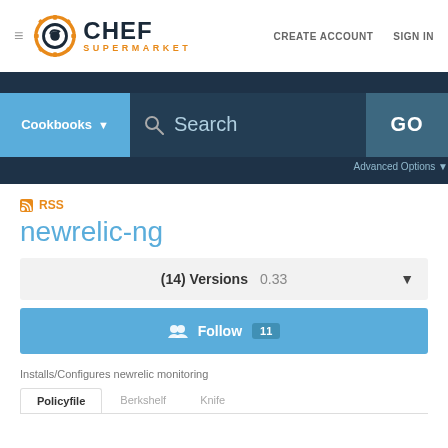≡ CHEF SUPERMARKET  CREATE ACCOUNT  SIGN IN
[Figure (screenshot): Chef Supermarket logo with orange gear icon and text CHEF SUPERMARKET]
Cookbooks ▾   🔍 Search   GO   Advanced Options ▾
📡 RSS
newrelic-ng
(14) Versions   0.33   ▼
👥 Follow  11
Installs/Configures newrelic monitoring
Policyfile   Berkshelf   Knife